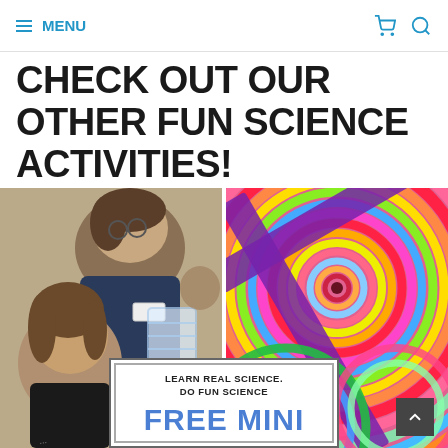MENU
CHECK OUT OUR OTHER FUN SCIENCE ACTIVITIES!
[Figure (photo): Two people (an adult and a child) looking at a scientific instrument, black and white / sepia toned photo]
[Figure (photo): Colorful spiral swirl pattern with vivid rainbow colors and a purple tape cross overlay]
[Figure (other): Overlay card with text: LEARN REAL SCIENCE. DO FUN SCIENCE and FREE MINI in blue bold letters]